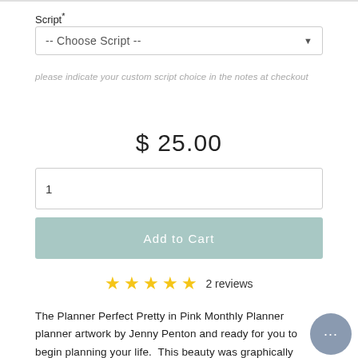Script*
-- Choose Script --
please indicate your custom script choice in the notes at checkout
$ 25.00
1
Add to Cart
★★★★★ 2 reviews
The Planner Perfect Pretty in Pink Monthly Planner planner artwork by Jenny Penton and ready for you to begin planning your life.  This beauty was graphically